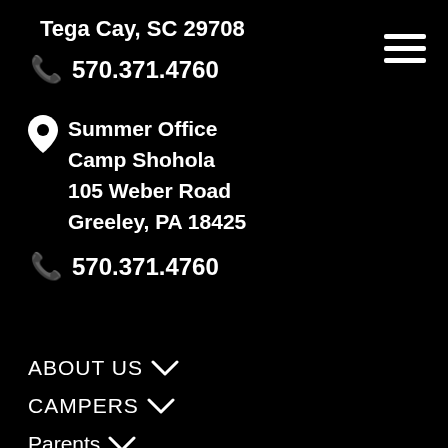Tega Cay, SC 29708
570.371.4760
Summer Office
Camp Shohola
105 Weber Road
Greeley, PA 18425
570.371.4760
ABOUT US
CAMPERS
Parents
STAFF
GROUP RENTALS